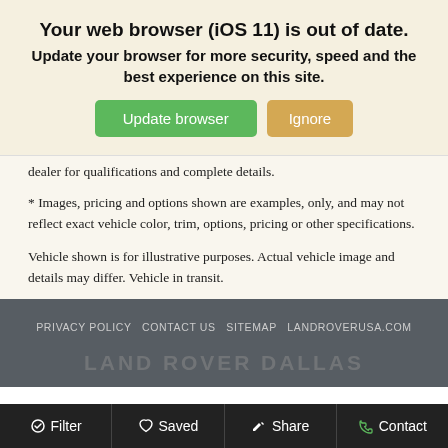Your web browser (iOS 11) is out of date.
Update your browser for more security, speed and the best experience on this site.
dealer for qualifications and complete details.
* Images, pricing and options shown are examples, only, and may not reflect exact vehicle color, trim, options, pricing or other specifications.
Vehicle shown is for illustrative purposes. Actual vehicle image and details may differ. Vehicle in transit.
PRIVACY POLICY   CONTACT US   SITEMAP   LANDROVERUSA.COM
LAND ROVER DALLAS
Filter   Saved   Share   Contact